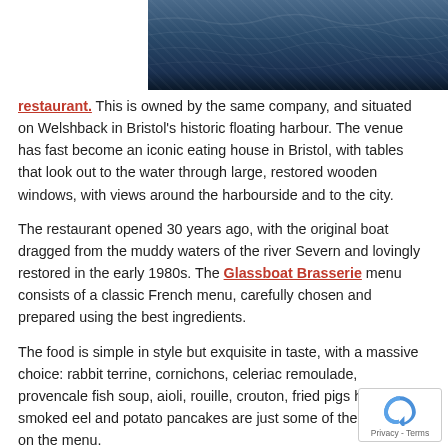[Figure (photo): Partial view of water surface, dark blue tones, appearing to be a harbour or river scene]
restaurant. This is owned by the same company, and situated on Welshback in Bristol's historic floating harbour. The venue has fast become an iconic eating house in Bristol, with tables that look out to the water through large, restored wooden windows, with views around the harbourside and to the city.
The restaurant opened 30 years ago, with the original boat dragged from the muddy waters of the river Severn and lovingly restored in the early 1980s. The Glassboat Brasserie menu consists of a classic French menu, carefully chosen and prepared using the best ingredients.
The food is simple in style but exquisite in taste, with a massive choice: rabbit terrine, cornichons, celeriac remoulade, provencale fish soup, aioli, rouille, crouton, fried pigs head, smoked eel and potato pancakes are just some of the delicacies on the menu.
And yet again, behind the success lies a Rational 101 SH oven, five years old and still going strong. “The big advantage of this app that it is self cleaning,” continues Paul. “The chef just turns it on ready for use. The reliability and performance is outstanding and huge role in the continuing success and reputation of the Glassboat.